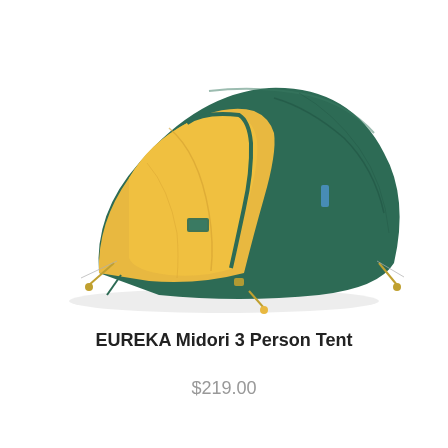[Figure (photo): A dome-style camping tent with yellow and dark green panels, viewed from the front-left. The tent is a two-tone design with a large yellow front panel and door area, and dark forest green sections on the sides and top. Stakes and guylines are visible at the base.]
EUREKA Midori 3 Person Tent
$219.00